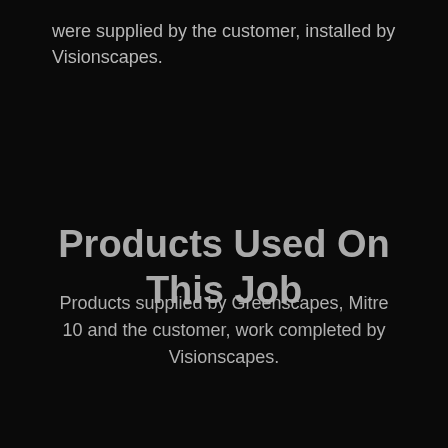were supplied by the customer, installed by Visionscapes.
Products Used On This Job
Products supplied by Greenscapes, Mitre 10 and the customer, work completed by Visionscapes.